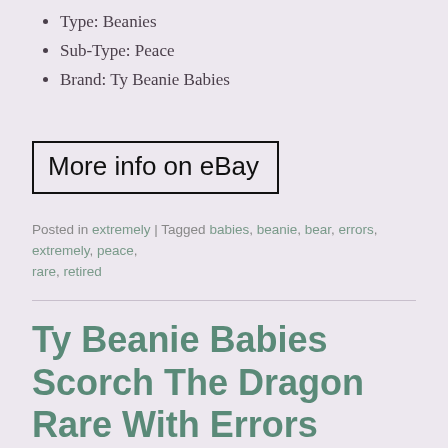Type: Beanies
Sub-Type: Peace
Brand: Ty Beanie Babies
[Figure (other): Button/link box with text 'More info on eBay' with black border outline]
Posted in extremely | Tagged babies, beanie, bear, errors, extremely, peace, rare, retired
Ty Beanie Babies Scorch The Dragon Rare With Errors Retired 1998 Collectors Dream
Posted on April 29, 2019